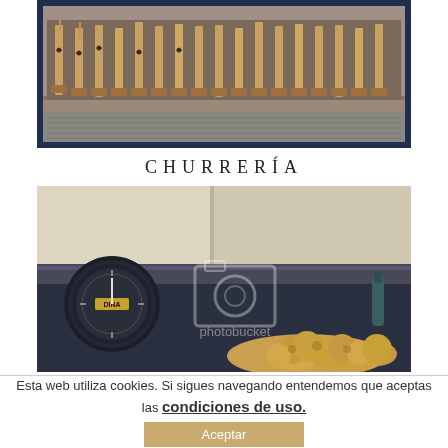[Figure (photo): Shop window display with wooden items/churros equipment on stands, dark navy blue frame, interior shop view from outside.]
CHURRERÍA
[Figure (photo): Interior of a churrería kitchen with a large round dial/gauge on the left, metal counters, and fried churros/buñuelos in the foreground. Photobucket watermark visible.]
Esta web utiliza cookies. Si sigues navegando entendemos que aceptas las condiciones de uso.
Aceptar